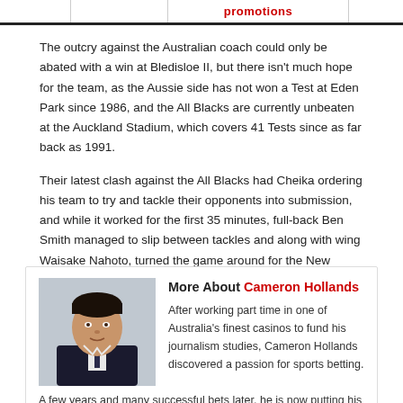promotions
The outcry against the Australian coach could only be abated with a win at Bledisloe II, but there isn't much hope for the team, as the Aussie side has not won a Test at Eden Park since 1986, and the All Blacks are currently unbeaten at the Auckland Stadium, which covers 41 Tests since as far back as 1991.
Their latest clash against the All Blacks had Cheika ordering his team to try and tackle their opponents into submission, and while it worked for the first 35 minutes, full-back Ben Smith managed to slip between tackles and along with wing Waisake Nahoto, turned the game around for the New Zealand team.
More About Cameron Hollands
After working part time in one of Australia's finest casinos to fund his journalism studies, Cameron Hollands discovered a passion for sports betting. A few years and many successful bets later, he is now putting his
[Figure (photo): Headshot photo of Cameron Hollands, a young man in a dark suit with tie, light background]